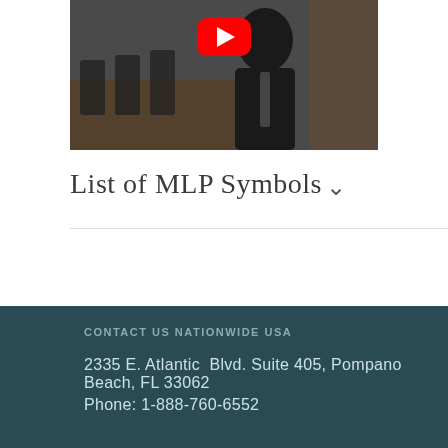[Figure (screenshot): Video thumbnail showing a man in a suit in a conference room, with a YouTube play button overlay in red]
List of MLP Symbols
CONTACT US NATIONWIDE USA
2335 E. Atlantic Blvd. Suite 405, Pompano Beach, FL 33062
Phone: 1-888-760-6552